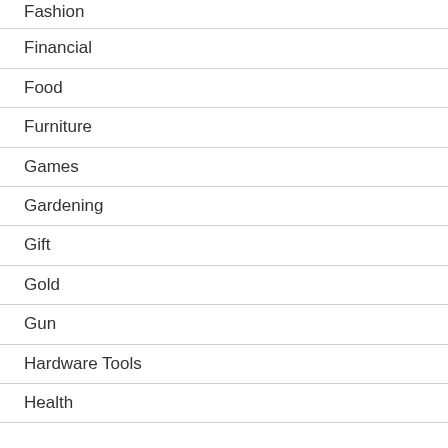Fashion
Financial
Food
Furniture
Games
Gardening
Gift
Gold
Gun
Hardware Tools
Health